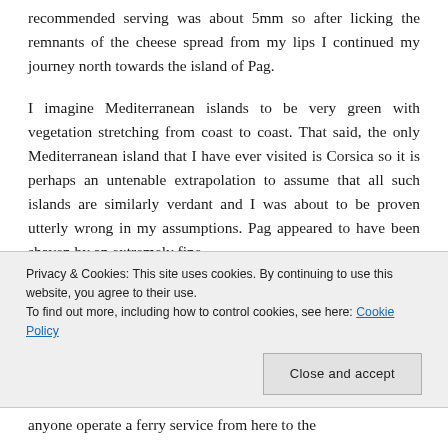recommended serving was about 5mm so after licking the remnants of the cheese spread from my lips I continued my journey north towards the island of Pag.
I imagine Mediterranean islands to be very green with vegetation stretching from coast to coast. That said, the only Mediterranean island that I have ever visited is Corsica so it is perhaps an untenable extrapolation to assume that all such islands are similarly verdant and I was about to be proven utterly wrong in my assumptions. Pag appeared to have been shaven by an extremely fine
Privacy & Cookies: This site uses cookies. By continuing to use this website, you agree to their use.
To find out more, including how to control cookies, see here: Cookie Policy
Close and accept
anyone operate a ferry service from here to the